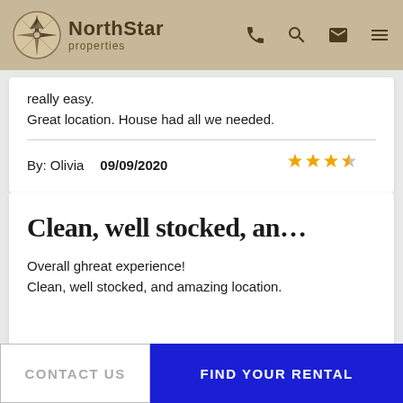NorthStar properties
really easy.
Great location. House had all we needed.
By: Olivia  09/09/2020  ★★★★☆
Clean, well stocked, an…
Overall ghreat experience!
Clean, well stocked, and amazing location.
CONTACT US | FIND YOUR RENTAL